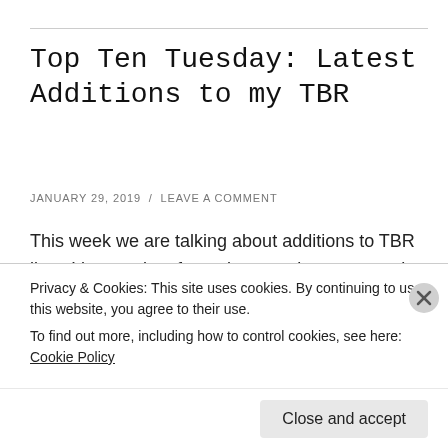Top Ten Tuesday: Latest Additions to my TBR
JANUARY 29, 2019  /  LEAVE A COMMENT
This week we are talking about additions to TBR lists. I know a lot of people are trying not to make too many additions to their reading lists this year, but I'm not about that life. I know myself and I know I'm gonna add books no matter what. Here are the
Privacy & Cookies: This site uses cookies. By continuing to use this website, you agree to their use.
To find out more, including how to control cookies, see here: Cookie Policy
Close and accept